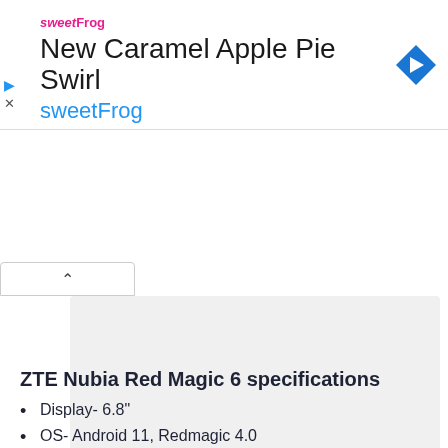[Figure (screenshot): SweetFrog advertisement banner showing 'New Caramel Apple Pie Swirl' with sweetFrog branding and navigation arrow icon]
[Figure (screenshot): Collapsed/expandable section with up-arrow toggle and gray placeholder content box]
ZTE Nubia Red Magic 6 specifications
Display- 6.8"
OS- Android 11, Redmagic 4.0
Processor- Qualcomm SM8350 Snapdragon 888 5G (5 nm)
Camera- 64 MP